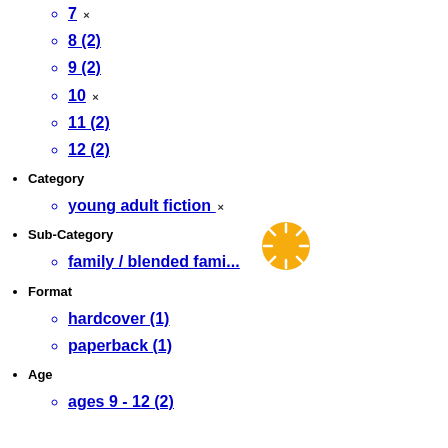7 ×
8 (2)
9 (2)
10 ×
11 (2)
12 (2)
Category
young adult fiction ×
Sub-Category
family / blended fami...
Format
hardcover (1)
paperback (1)
Age
ages 9 - 12 (2)